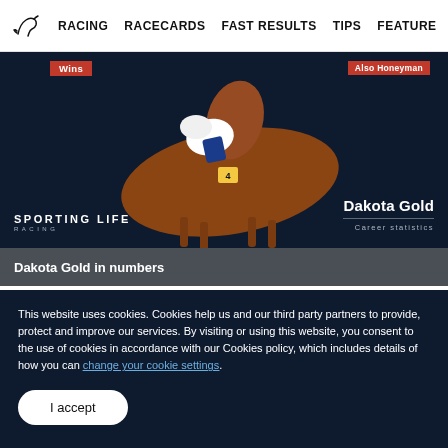RACING  RACECARDS  FAST RESULTS  TIPS  FEATURE
[Figure (photo): Horse and jockey racing photo with 'Dakota Gold' and 'Career statistics' text overlay, Sporting Life Racing logo, Wins badge and Also Honeyman badge]
Dakota Gold in numbers
This website uses cookies. Cookies help us and our third party partners to provide, protect and improve our services. By visiting or using this website, you consent to the use of cookies in accordance with our Cookies policy, which includes details of how you can change your cookie settings.
I accept